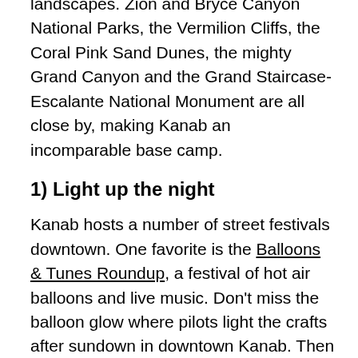landscapes. Zion and Bryce Canyon National Parks, the Vermilion Cliffs, the Coral Pink Sand Dunes, the mighty Grand Canyon and the Grand Staircase-Escalante National Monument are all close by, making Kanab an incomparable base camp.
1) Light up the night
Kanab hosts a number of street festivals downtown. One favorite is the Balloons & Tunes Roundup, a festival of hot air balloons and live music. Don't miss the balloon glow where pilots light the crafts after sundown in downtown Kanab. Then join hundreds of visitors and make a wish with a Chinese wish lantern.
2) Finding Zion
Established as Utah's first national park, 229-